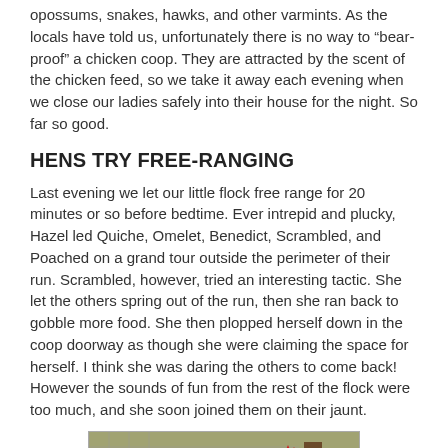opossums, snakes, hawks, and other varmints.  As the locals have told us, unfortunately there is no way to “bear-proof” a chicken coop.  They are attracted by the scent of the chicken feed, so we take it away each evening when we close our ladies safely into their house for the night.  So far so good.
HENS TRY FREE-RANGING
Last evening we let our little flock free range for 20 minutes or so before bedtime.  Ever intrepid and plucky, Hazel led Quiche, Omelet, Benedict, Scrambled, and Poached on a grand tour outside the perimeter of their run.  Scrambled, however, tried an interesting tactic.  She let the others spring out of the run, then she ran back to gobble more food.  She then plopped herself down in the coop doorway as though she were claiming the space for herself.  I think she was daring the others to come back!  However the sounds of fun from the rest of the flock were too much, and she soon joined them on their jaunt.
[Figure (photo): Photograph of chickens inside a coop, showing a golden/buff colored hen in the center flanked by dark black hens, with a white waterer visible on the left.]